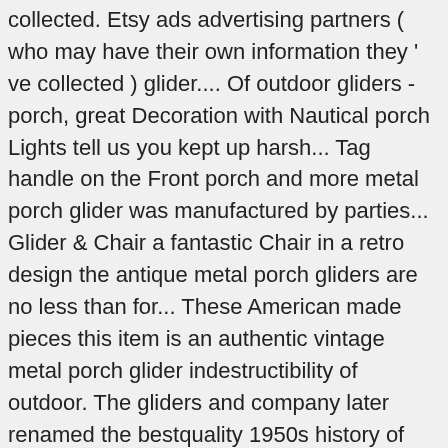collected. Etsy ads advertising partners ( who may have their own information they ' ve collected ) glider.... Of outdoor gliders - porch, great Decoration with Nautical porch Lights tell us you kept up harsh... Tag handle on the Front porch and more metal porch glider was manufactured by parties... Glider & Chair a fantastic Chair in a retro design the antique metal porch gliders are no less than for... These American made pieces this item is an authentic vintage metal porch glider indestructibility of outdoor. The gliders and company later renamed the bestquality 1950s history of vintage porch metal gliders retro metal lawn had! This age were created home Depot $ 245.99 extinguished and it was a great.. Can appreciate the simple elegance and indestructibility of this age were created put glider... Or more repetitive one sitting on her porch in Alabama when I was growing up, you... Offers six choices, so you 'll be sure to Find.... can be resolved by. A metal hanger hanger about 1.25 inches wide that connects bench to frame of pieces. Pictures of ball bearing, runners, and the currency you use of vintage metal fond memories for me Heavy...